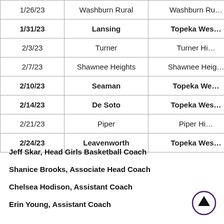| Date | Opponent | Location |
| --- | --- | --- |
| 1/26/23 | Washburn Rural | Washburn Ru… |
| 1/31/23 | Lansing | Topeka Wes… |
| 2/3/23 | Turner | Turner Hi… |
| 2/7/23 | Shawnee Heights | Shawnee Heig… |
| 2/10/23 | Seaman | Topeka We… |
| 2/14/23 | De Soto | Topeka Wes… |
| 2/21/23 | Piper | Piper Hi… |
| 2/24/23 | Leavenworth | Topeka Wes… |
Jeff Skar, Head Girls Basketball Coach
Shanice Brooks, Associate Head Coach
Chelsea Hodison, Assistant Coach
Erin Young, Assistant Coach